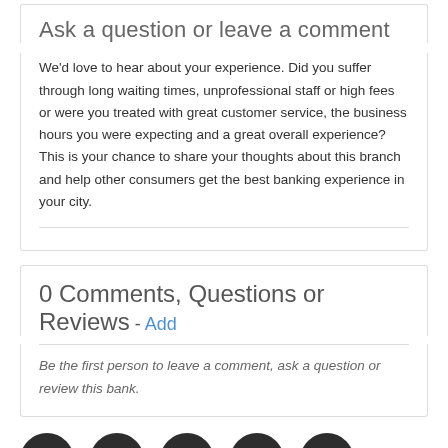Ask a question or leave a comment
We'd love to hear about your experience. Did you suffer through long waiting times, unprofessional staff or high fees or were you treated with great customer service, the business hours you were expecting and a great overall experience? This is your chance to share your thoughts about this branch and help other consumers get the best banking experience in your city.
0 Comments, Questions or Reviews - Add
Be the first person to leave a comment, ask a question or review this bank.
[Figure (infographic): Row of five dark circular social media icons: Facebook, Twitter, Google+, Facebook (share), Email]